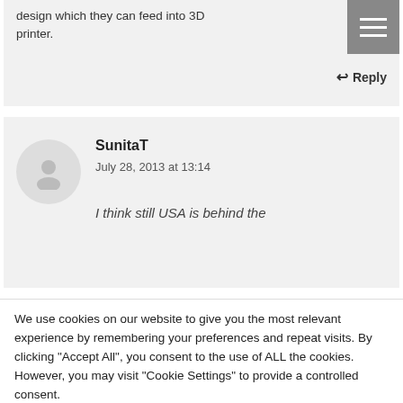design which they can feed into 3D printer.
↩ Reply
SunitaT
July 28, 2013 at 13:14
I think still USA is behind the
We use cookies on our website to give you the most relevant experience by remembering your preferences and repeat visits. By clicking "Accept All", you consent to the use of ALL the cookies. However, you may visit "Cookie Settings" to provide a controlled consent.